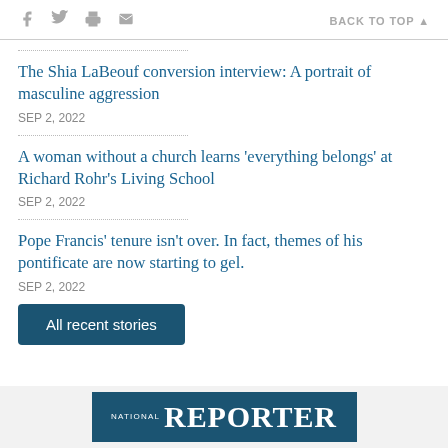social icons | BACK TO TOP
The Shia LaBeouf conversion interview: A portrait of masculine aggression
SEP 2, 2022
A woman without a church learns 'everything belongs' at Richard Rohr's Living School
SEP 2, 2022
Pope Francis' tenure isn't over. In fact, themes of his pontificate are now starting to gel.
SEP 2, 2022
All recent stories
NATIONAL REPORTER